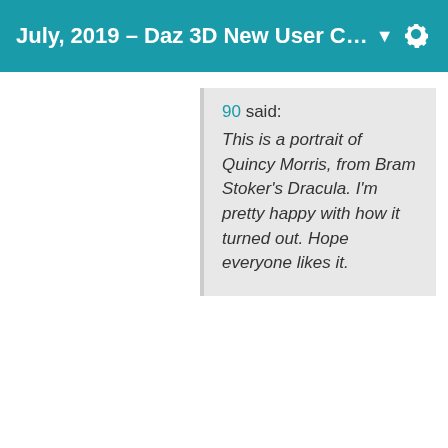July, 2019 – Daz 3D New User C… ▼
90 said:
This is a portrait of Quincy Morris, from Bram Stoker's Dracula. I'm pretty happy with how it turned out. Hope everyone likes it.
Ooooh, he's smokin' hot. Seriously, I love Quincy. Your picture really brings out his rugged toughness. I think he should have a large moustache instead of a goatee, if you have one for him to wear. IIRC, that's how the novel describes him? (And most modern depictions of